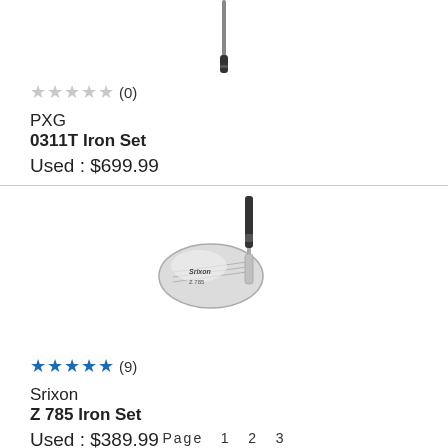[Figure (photo): PXG 0311T Iron Set golf club image (partial, top view)]
★★★★★ (0)
PXG
0311T Iron Set
Used : $699.99
[Figure (photo): Srixon Z 785 Iron Set golf club image]
★★★★★ (9)
Srixon
Z 785 Iron Set
Used : $389.99
Page 1 2 3